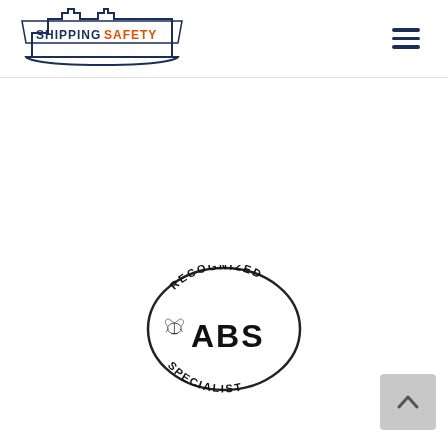SHIPPING SAFETY
[Figure (logo): ABS Recognized Specialist oval badge/seal with eagle logo and text RECOGNIZED ABS SPECIALIST]
[Figure (other): Scroll to top button with upward chevron arrow]